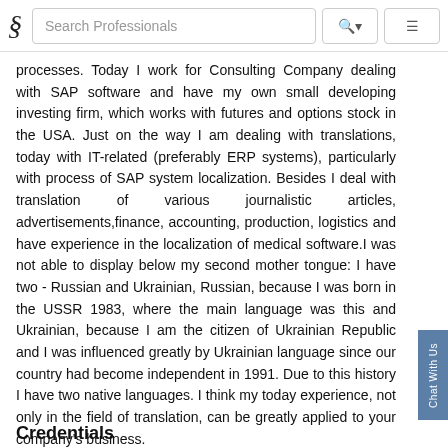Search Professionals
processes. Today I work for Consulting Company dealing with SAP software and have my own small developing investing firm, which works with futures and options stock in the USA. Just on the way I am dealing with translations, today with IT-related (preferably ERP systems), particularly with process of SAP system localization. Besides I deal with translation of various journalistic articles, advertisements,finance, accounting, production, logistics and have experience in the localization of medical software.I was not able to display below my second mother tongue: I have two - Russian and Ukrainian, Russian, because I was born in the USSR 1983, where the main language was this and Ukrainian, because I am the citizen of Ukrainian Republic and I was influenced greatly by Ukrainian language since our country had become independent in 1991. Due to this history I have two native languages. I think my today experience, not only in the field of translation, can be greatly applied to your company's business.
Credentials